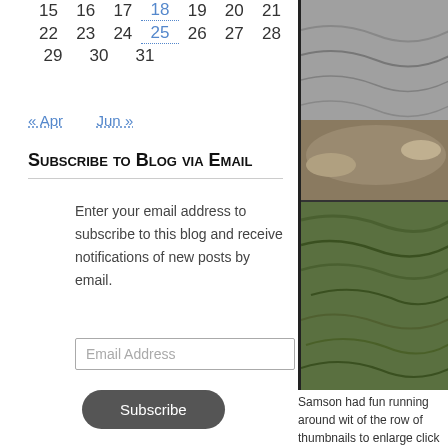15 16 17 18 19 20 21 (partial row, cropped at top)
22 23 24 25 26 27 28
29 30 31
« Apr   Jun »
Subscribe to Blog via Email
Enter your email address to subscribe to this blog and receive notifications of new posts by email.
Email Address
Subscribe
My Instagram Photos
[Figure (photo): Two Instagram photo thumbnails: left shows a hummingbird moth on purple flowers, right shows a dragonfly on green foliage]
[Figure (photo): Right column: large photo of water/river scene with rippling greenish water and rocky bank]
Samson had fun running around wit of the row of thumbnails to enlarge click on "Play Slideshow", there are